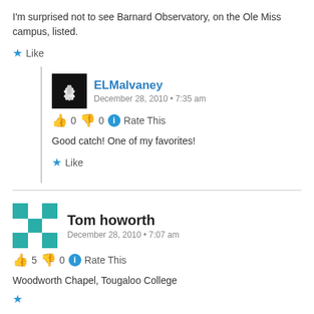I'm surprised not to see Barnard Observatory, on the Ole Miss campus, listed.
★ Like
ELMalvaney
December 28, 2010 • 7:35 am
👍 0 👎 0 ℹ Rate This
Good catch! One of my favorites!
★ Like
Tom howorth
December 28, 2010 • 7:07 am
👍 5 👎 0 ℹ Rate This
Woodworth Chapel, Tougaloo College
★ Like